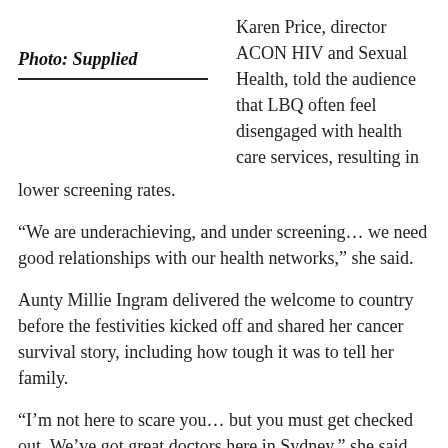Photo: Supplied
Karen Price, director ACON HIV and Sexual Health, told the audience that LBQ often feel disengaged with health care services, resulting in lower screening rates.
“We are underachieving, and under screening… we need good relationships with our health networks,” she said.
Aunty Millie Ingram delivered the welcome to country before the festivities kicked off and shared her cancer survival story, including how tough it was to tell her family.
“I’m not here to scare you… but you must get checked out. We’ve got great doctors here in Sydney,” she said.